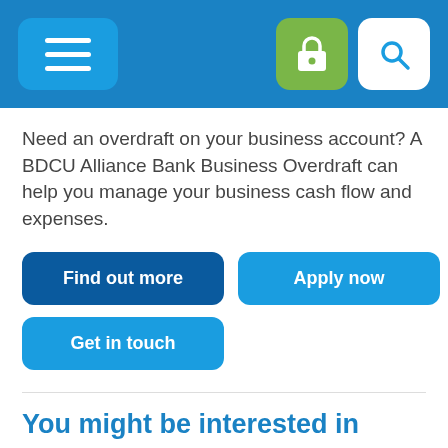Navigation header with hamburger menu, lock icon, and search icon
Need an overdraft on your business account? A BDCU Alliance Bank Business Overdraft can help you manage your business cash flow and expenses.
Find out more
Apply now
Get in touch
You might be interested in
Business Savings and Transaction Accounts